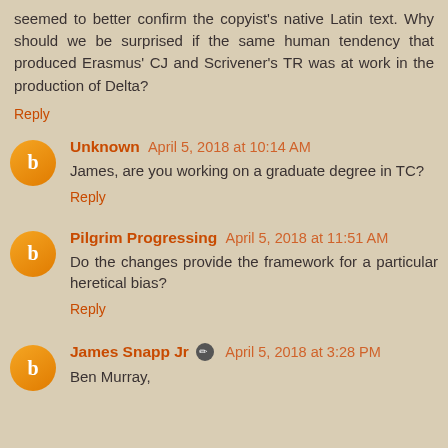seemed to better confirm the copyist's native Latin text. Why should we be surprised if the same human tendency that produced Erasmus' CJ and Scrivener's TR was at work in the production of Delta?
Reply
Unknown April 5, 2018 at 10:14 AM
James, are you working on a graduate degree in TC?
Reply
Pilgrim Progressing April 5, 2018 at 11:51 AM
Do the changes provide the framework for a particular heretical bias?
Reply
James Snapp Jr April 5, 2018 at 3:28 PM
Ben Murray,